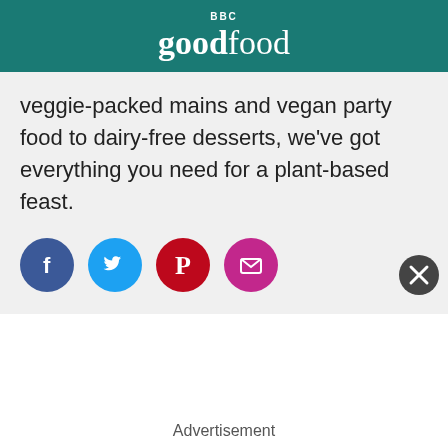BBC Good Food
veggie-packed mains and vegan party food to dairy-free desserts, we've got everything you need for a plant-based feast.
[Figure (infographic): Four social media sharing icons: Facebook (dark blue circle with 'f'), Twitter (light blue circle with bird), Pinterest (dark red circle with 'P'), Email (magenta circle with envelope)]
Advertisement